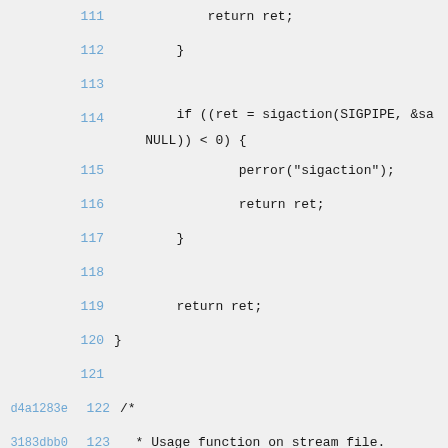Code listing lines 111-125 showing C source code with git blame annotations
111    return ret;
112        }
113
114            if ((ret = sigaction(SIGPIPE, &sa NULL)) < 0) {
115                perror("sigaction");
116                return ret;
117            }
118
119            return ret;
120 }
121
d4a1283e 122 /*
3183dbb0 123   * Usage function on stream file.
d4a1283e 124   */
3183dbb0 125 static void usage(FILE *fp)